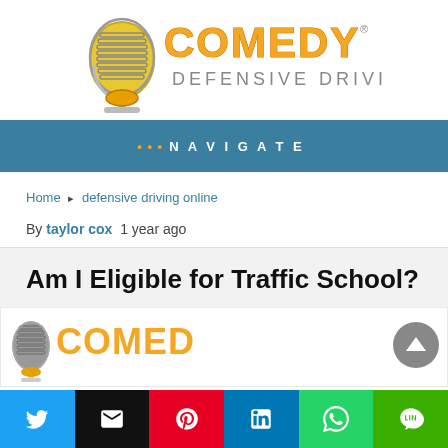[Figure (logo): Comedy Defensive Driving logo with microphone and stylized text]
••• NAVIGATE
Home ▸ defensive driving online
By taylor cox 1 year ago
Am I Eligible for Traffic School?
[Figure (logo): Comedy Defensive Driving logo partial view with microphone and COMEDY text]
[Figure (infographic): Social share bar with Twitter, Email, Pinterest, LinkedIn, WhatsApp, LINE buttons]